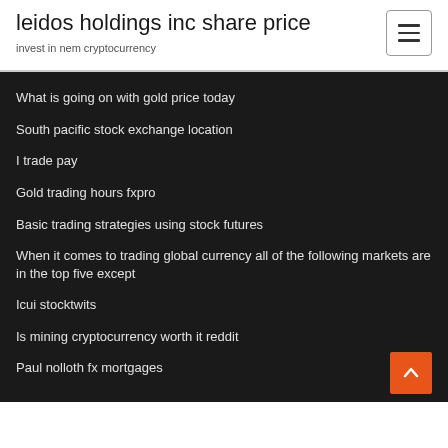leidos holdings inc share price
invest in nem cryptocurrency
What is going on with gold price today
South pacific stock exchange location
I trade pay
Gold trading hours fxpro
Basic trading strategies using stock futures
When it comes to trading global currency all of the following markets are in the top five except
Icui stocktwits
Is mining cryptocurrency worth it reddit
Paul nolloth fx mortgages